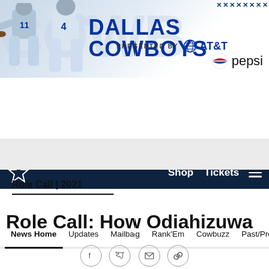[Figure (screenshot): Dallas Cowboys website header banner with player photos, team name, AT&T and Pepsi sponsor logos]
DALLAS COWBOYS PRESENTED BY AT&T / pepsi
Shop  Tickets  ☰
News Home  Updates  Mailbag  Rank'Em  Cowbuzz  Past/Pres
Role Call | 2021
Role Call: How Odiahizuwa